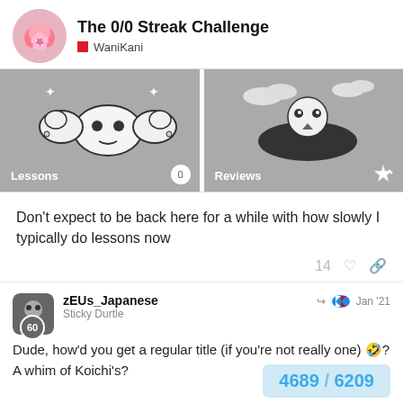The 0/0 Streak Challenge — WaniKani
[Figure (screenshot): Two panels side by side: left panel shows an illustrated crab creature with sparkles labeled 'Lessons' with badge '0'; right panel shows an illustrated penguin/bird creature labeled 'Reviews' with an arrow badge.]
Don't expect to be back here for a while with how slowly I typically do lessons now
14 ♡ 🔗
zEUs_Japanese
Sticky Durtle
Jan '21
Dude, how'd you get a regular title (if you're not really one) 🤣? A whim of Koichi's?
4689 / 6209